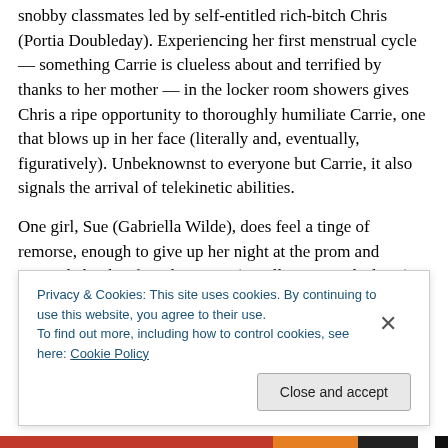snobby classmates led by self-entitled rich-bitch Chris (Portia Doubleday). Experiencing her first menstrual cycle — something Carrie is clueless about and terrified by thanks to her mother — in the locker room showers gives Chris a ripe opportunity to thoroughly humiliate Carrie, one that blows up in her face (literally and, eventually, figuratively). Unbeknownst to everyone but Carrie, it also signals the arrival of telekinetic abilities.
One girl, Sue (Gabriella Wilde), does feel a tinge of remorse, enough to give up her night at the prom and persuade her boyfriend Tommy (a well-cast Ansel Elgort)
Privacy & Cookies: This site uses cookies. By continuing to use this website, you agree to their use.
To find out more, including how to control cookies, see here: Cookie Policy